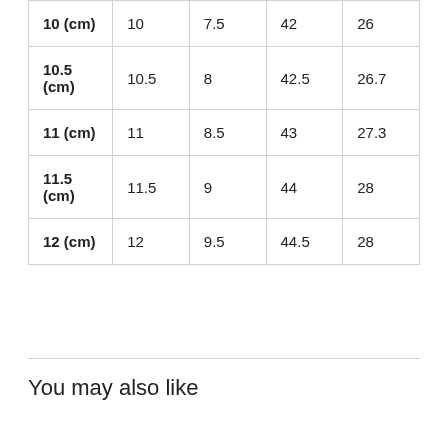| 10 (cm) | 10 | 7.5 | 42 | 26 |
| 10.5 (cm) | 10.5 | 8 | 42.5 | 26.7 |
| 11 (cm) | 11 | 8.5 | 43 | 27.3 |
| 11.5 (cm) | 11.5 | 9 | 44 | 28 |
| 12 (cm) | 12 | 9.5 | 44.5 | 28 |
You may also like